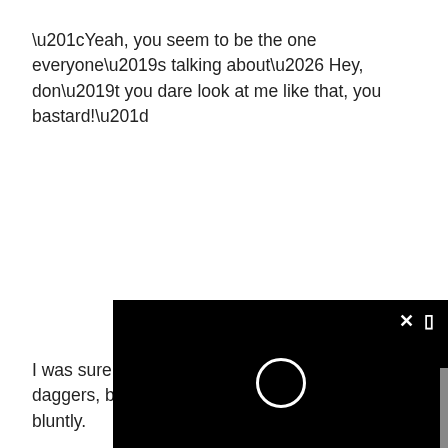“Yeah, you seem to be the one everyone’s talking about… Hey, don’t you dare look at me like that, you bastard!”
I was sure I was looking at him with e daggers, but no one had ever called m bluntly.
[Figure (other): Black overlay box with a white close button (x) in the top right corner and a white circular loading spinner icon in the center.]